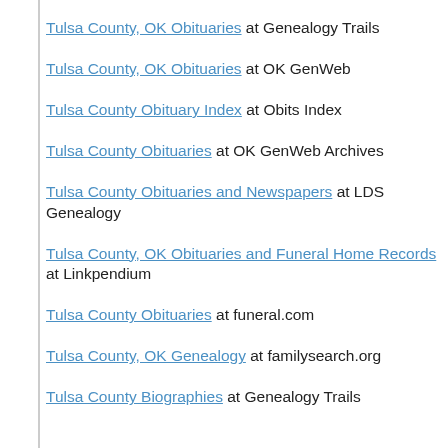Tulsa County, OK Obituaries at Genealogy Trails
Tulsa County, OK Obituaries at OK GenWeb
Tulsa County Obituary Index at Obits Index
Tulsa County Obituaries at OK GenWeb Archives
Tulsa County Obituaries and Newspapers at LDS Genealogy
Tulsa County, OK Obituaries and Funeral Home Records at Linkpendium
Tulsa County Obituaries at funeral.com
Tulsa County, OK Genealogy at familysearch.org
Tulsa County Biographies at Genealogy Trails